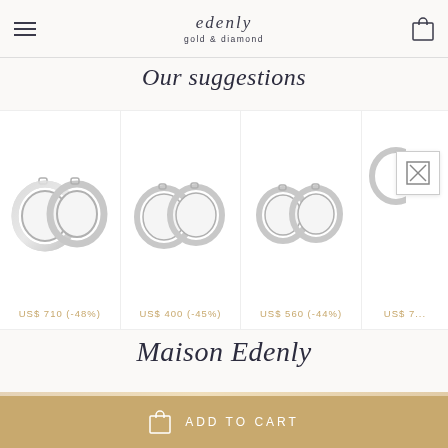edenly gold & diamond
Our suggestions
[Figure (photo): Three diamond hoop earring product cards showing pair of earrings each, with prices: US$ 710 (-48%), US$ 400 (-45%), US$ 560 (-44%), and a fourth partially visible card with broken image icon and US$ 7...]
Maison Edenly
ADD TO CART